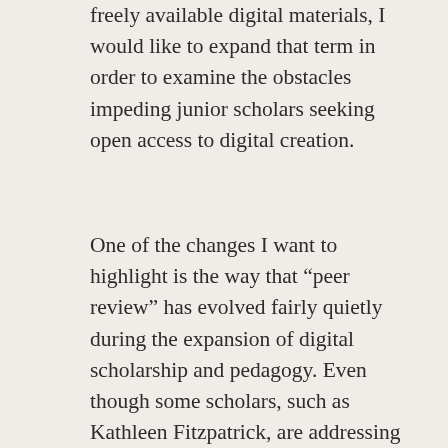freely available digital materials, I would like to expand that term in order to examine the obstacles impeding junior scholars seeking open access to digital creation.
One of the changes I want to highlight is the way that “peer review” has evolved fairly quietly during the expansion of digital scholarship and pedagogy. Even though some scholars, such as Kathleen Fitzpatrick, are addressing the need for new models of peer review, recognition of the ways that this process has already been transformed in the digital realm remains limited. The 2010 Center for Studies in Higher Education (hereafter cited as Berkeley Report) comments astutely on the conventional role of peer review in the academy: